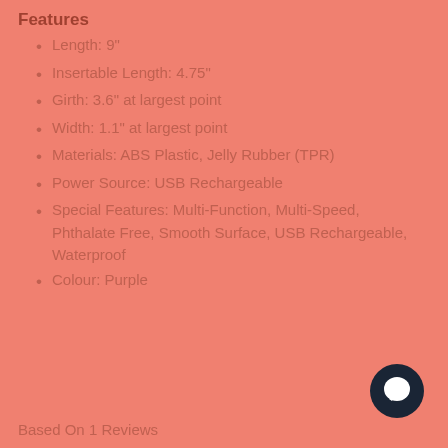Features
Length: 9"
Insertable Length: 4.75"
Girth: 3.6" at largest point
Width: 1.1" at largest point
Materials: ABS Plastic, Jelly Rubber (TPR)
Power Source: USB Rechargeable
Special Features: Multi-Function, Multi-Speed, Phthalate Free, Smooth Surface, USB Rechargeable, Waterproof
Colour: Purple
Based On 1 Reviews